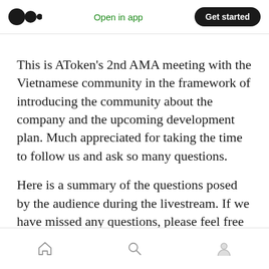Medium logo | Open in app | Get started
This is AToken's 2nd AMA meeting with the Vietnamese community in the framework of introducing the community about the company and the upcoming development plan. Much appreciated for taking the time to follow us and ask so many questions.
Here is a summary of the questions posed by the audience during the livestream. If we have missed any questions, please feel free to leave a comment below the article or join the telegram team to get answers.
Home | Search | Profile